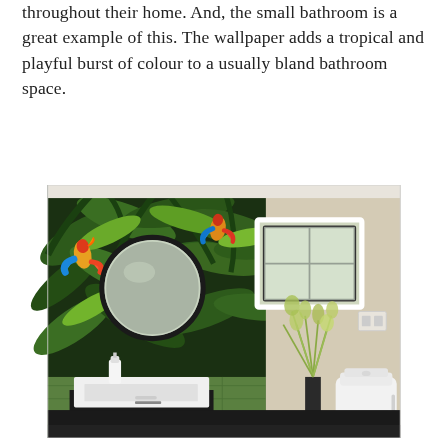throughout their home. And, the small bathroom is a great example of this. The wallpaper adds a tropical and playful burst of colour to a usually bland bathroom space.
[Figure (photo): Interior photo of a small bathroom featuring tropical jungle-themed wallpaper with colourful parrots and lush green leaves covering the main wall. A round black-framed mirror hangs on the left. A white framed window is open on the right side of the wallpapered wall. A white rectangular wall-mounted sink with a soap dispenser sits below the mirror. Dark floor tiles. A wall-hung white toilet is visible on the right side. A tall decorative grass plant in a dark pot stands near the toilet. A white power outlet is on the plain beige wall to the right.]